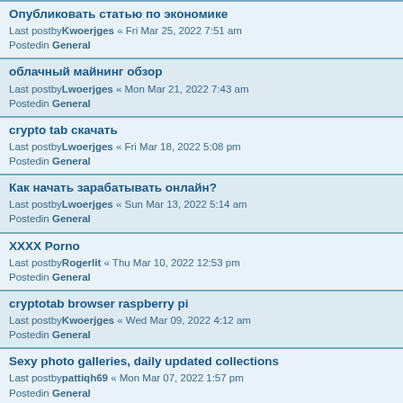Опубликовать статью по экономике
Last postby Kwoerjges « Fri Mar 25, 2022 7:51 am
Posted in General
облачный майнинг обзор
Last postby Lwoerjges « Mon Mar 21, 2022 7:43 am
Posted in General
crypto tab скачать
Last postby Lwoerjges « Fri Mar 18, 2022 5:08 pm
Posted in General
Как начать зарабатывать онлайн?
Last postby Lwoerjges « Sun Mar 13, 2022 5:14 am
Posted in General
XXXX Porno
Last postby Rogerlit « Thu Mar 10, 2022 12:53 pm
Posted in General
cryptotab browser raspberry pi
Last postby Kwoerjges « Wed Mar 09, 2022 4:12 am
Posted in General
Sexy photo galleries, daily updated collections
Last postby pattiqh69 « Mon Mar 07, 2022 1:57 pm
Posted in General
orlando seo services
Last postby VictorZes « Sat Mar 05, 2022 2:51 pm
Posted in General
Эффективное продвижение статьями
Last postby Kwoerjges « Sat Mar 05, 2022 2:34 am
Posted in General